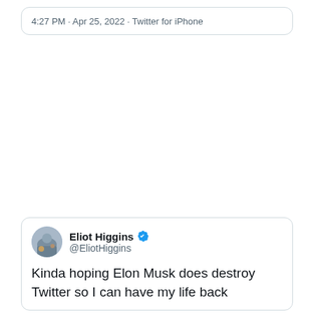4:27 PM · Apr 25, 2022 · Twitter for iPhone
[Figure (screenshot): Empty white space between two tweet screenshots]
Eliot Higgins @EliotHiggins — Kinda hoping Elon Musk does destroy Twitter so I can have my life back